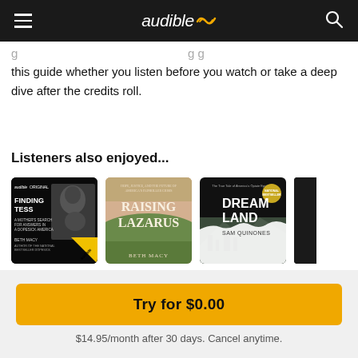audible
this guide whether you listen before you watch or take a deep dive after the credits roll.
Listeners also enjoyed...
[Figure (other): Row of audiobook covers: Finding Tess (Audible Original by Beth Macy), Raising Lazarus (by Beth Macy), Dreamland (by Sam Quinones), and a partial fourth cover]
Try for $0.00
$14.95/month after 30 days. Cancel anytime.